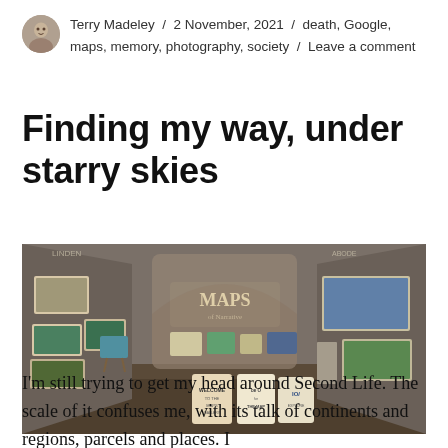Terry Madeley / 2 November, 2021 / death, Google, maps, memory, photography, society / Leave a comment
Finding my way, under starry skies
[Figure (screenshot): Screenshot of a virtual 3D gallery in Second Life displaying a 'Maps' exhibition with framed map artworks on walls and informational signs on the floor]
I'm still trying to get my head around Second Life. The scale of it confuses me, with its talk of continents and regions, parcels and places. I